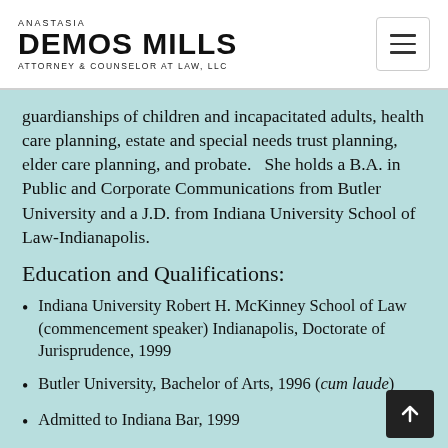ANASTASIA DEMOS MILLS ATTORNEY & COUNSELOR AT LAW, LLC
guardianships of children and incapacitated adults, health care planning, estate and special needs trust planning, elder care planning, and probate.   She holds a B.A. in Public and Corporate Communications from Butler University and a J.D. from Indiana University School of Law-Indianapolis.
Education and Qualifications:
Indiana University Robert H. McKinney School of Law (commencement speaker) Indianapolis, Doctorate of Jurisprudence, 1999
Butler University, Bachelor of Arts, 1996 (cum laude)
Admitted to Indiana Bar, 1999